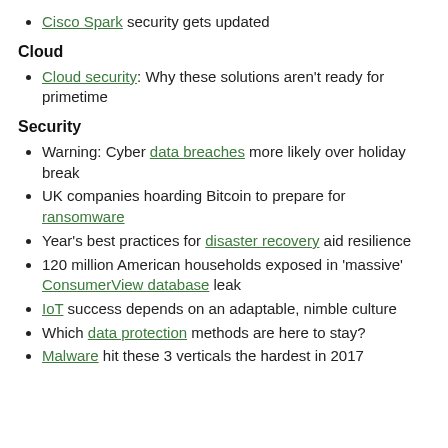Cisco Spark security gets updated
Cloud
Cloud security: Why these solutions aren't ready for primetime
Security
Warning: Cyber data breaches more likely over holiday break
UK companies hoarding Bitcoin to prepare for ransomware
Year's best practices for disaster recovery aid resilience
120 million American households exposed in 'massive' ConsumerView database leak
IoT success depends on an adaptable, nimble culture
Which data protection methods are here to stay?
Malware hit these 3 verticals the hardest in 2017